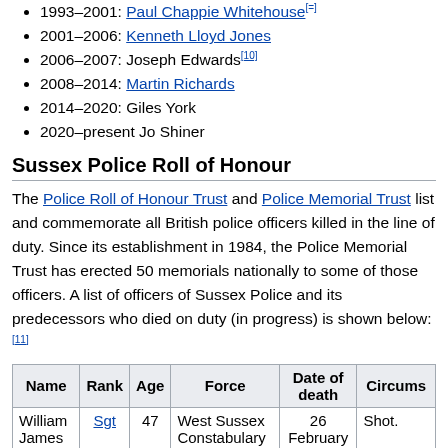1993–2001: Paul Chappie Whitehouse[=]
2001–2006: Kenneth Lloyd Jones
2006–2007: Joseph Edwards[10]
2008–2014: Martin Richards
2014–2020: Giles York
2020–present Jo Shiner
Sussex Police Roll of Honour
The Police Roll of Honour Trust and Police Memorial Trust list and commemorate all British police officers killed in the line of duty. Since its establishment in 1984, the Police Memorial Trust has erected 50 memorials nationally to some of those officers. A list of officers of Sussex Police and its predecessors who died on duty (in progress) is shown below:[11]
| Name | Rank | Age | Force | Date of death | Circums... |
| --- | --- | --- | --- | --- | --- |
| William James Avis | Sgt | 47 | West Sussex Constabulary | 26 February 1942 | Shot. |
| Arthur Walls | Insp | 44 | Eastbourne Borough Police | 9 October 1912 | Shot. |
| Jeffrey ... |  |  |  |  | Fatally i... by a spee... |